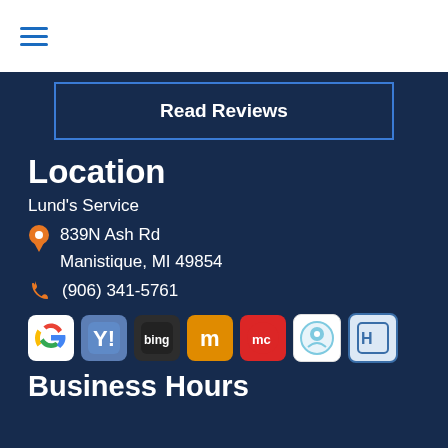☰ (hamburger menu)
Read Reviews
Location
Lund's Service
839N Ash Rd
Manistique, MI 49854
(906) 341-5761
[Figure (logo): Row of partner/review site logos: Google, Yahoo, Bing, Manta, MapQuest, Loyalty Gator, Husqvarna]
Business Hours